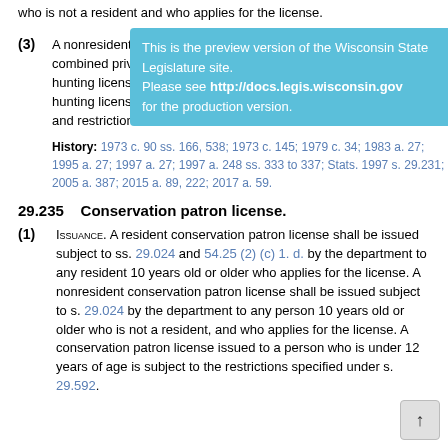who is not a resident and who applies for the license.
[Figure (other): Preview banner: 'This is the preview version of the Wisconsin State Legislature site. Please see http://docs.legis.wisconsin.gov for the production version.']
(3) A nonresident sports license confers upon the licensee all of the combined privileges conferred by a nonresident small game hunting license, nonresident fishing license and nonresident deer hunting license subject to all of the duties, conditions, limitations and restrictions of those licenses.
History: 1973 c. 90 ss. 166, 538; 1973 c. 145; 1979 c. 34; 1983 a. 27; 1995 a. 27; 1997 a. 27; 1997 a. 248 ss. 333 to 337; Stats. 1997 s. 29.231; 2005 a. 387; 2015 a. 89, 222; 2017 a. 59.
29.235    Conservation patron license.
(1) Issuance. A resident conservation patron license shall be issued subject to ss. 29.024 and 54.25 (2) (c) 1. d. by the department to any resident 10 years old or older who applies for the license. A nonresident conservation patron license shall be issued subject to s. 29.024 by the department to any person 10 years old or older who is not a resident, and who applies for the license. A conservation patron license issued to a person who is under 12 years of age is subject to the restrictions specified under s. 29.592.